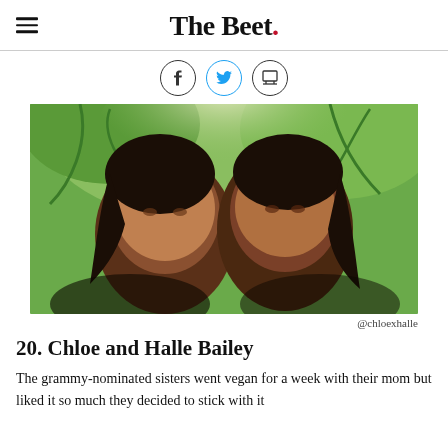The Beet.
[Figure (photo): Photo of two young women (Chloe and Halle Bailey) posing close together with tropical palm trees in the background, credited to @chloexhalle]
@chloexhalle
20. Chloe and Halle Bailey
The grammy-nominated sisters went vegan for a week with their mom but liked it so much they decided to stick with it